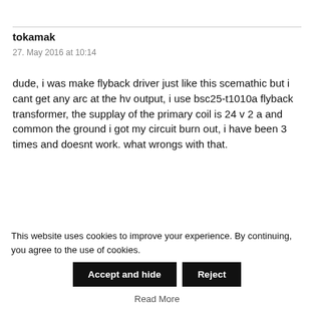tokamak
27. May 2016 at 10:14
dude, i was make flyback driver just like this scemathic but i cant get any arc at the hv output, i use bsc25-t1010a flyback transformer, the supplay of the primary coil is 24 v 2 a and common the ground i got my circuit burn out, i have been 3 times and doesnt work. what wrongs with that.
This website uses cookies to improve your experience. By continuing, you agree to the use of cookies.
Accept and hide
Reject
Read More